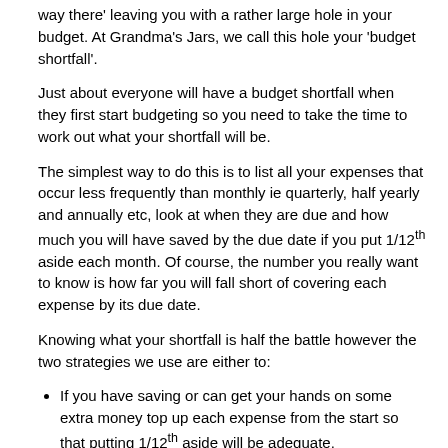way there' leaving you with a rather large hole in your budget. At Grandma's Jars, we call this hole your 'budget shortfall'.
Just about everyone will have a budget shortfall when they first start budgeting so you need to take the time to work out what your shortfall will be.
The simplest way to do this is to list all your expenses that occur less frequently than monthly ie quarterly, half yearly and annually etc, look at when they are due and how much you will have saved by the due date if you put 1/12th aside each month. Of course, the number you really want to know is how far you will fall short of covering each expense by its due date.
Knowing what your shortfall is half the battle however the two strategies we use are either to:
If you have saving or can get your hands on some extra money top up each expense from the start so that putting 1/12th aside will be adequate.
Or instead of putting aside 1/12th each month you might put aside 1/6th until the bill turns up for the first time and then